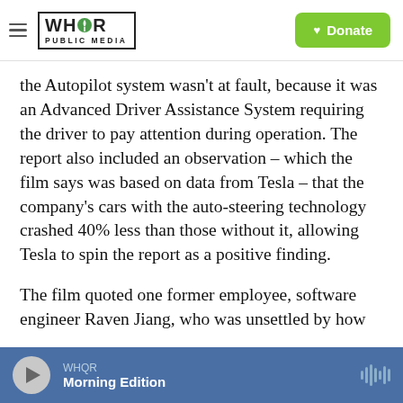WHQR PUBLIC MEDIA | Donate
the Autopilot system wasn't at fault, because it was an Advanced Driver Assistance System requiring the driver to pay attention during operation. The report also included an observation – which the film says was based on data from Tesla – that the company's cars with the auto-steering technology crashed 40% less than those without it, allowing Tesla to spin the report as a positive finding.
The film quoted one former employee, software engineer Raven Jiang, who was unsettled by how the system worked. "Sometimes it seems like people and companies were being rewarded, not
WHQR | Morning Edition